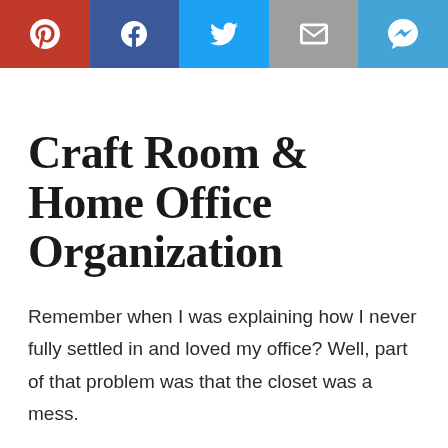[Figure (other): Social sharing bar with Pinterest, Facebook, Twitter, Email, and SMS buttons]
Craft Room & Home Office Organization
Remember when I was explaining how I never fully settled in and loved my office? Well, part of that problem was that the closet was a mess.